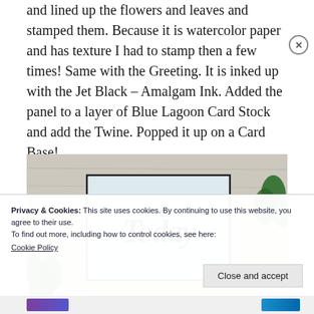and lined up the flowers and leaves and stamped them. Because it is watercolor paper and has texture I had to stamp then a few times! Same with the Greeting. It is inked up with the Jet Black – Amalgam Ink. Added the panel to a layer of Blue Lagoon Card Stock and add the Twine. Popped it up on a Card Base!
[Figure (photo): Photo of a handmade greeting card showing the word 'Today' in a stylized script/calligraphy font inside a bordered white card rectangle, set against a rustic wooden background with greenery visible on the sides.]
Privacy & Cookies: This site uses cookies. By continuing to use this website, you agree to their use.
To find out more, including how to control cookies, see here:
Cookie Policy
Close and accept